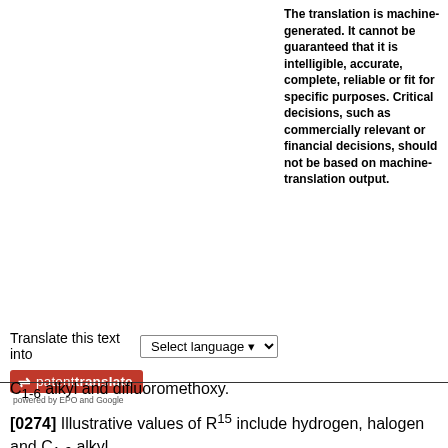The translation is machine-generated. It cannot be guaranteed that it is intelligible, accurate, complete, reliable or fit for specific purposes. Critical decisions, such as commercially relevant or financial decisions, should not be based on machine-translation output.
Translate this text into [Select language dropdown]
[Figure (logo): patenttranslate logo - red badge with arrow icon and text 'patenttranslate', subtext 'powered by EPO and Google']
C1-6 alkyl and difluoromethoxy.
[0274] Illustrative values of R15 include hydrogen, halogen and C1-6 alkyl.